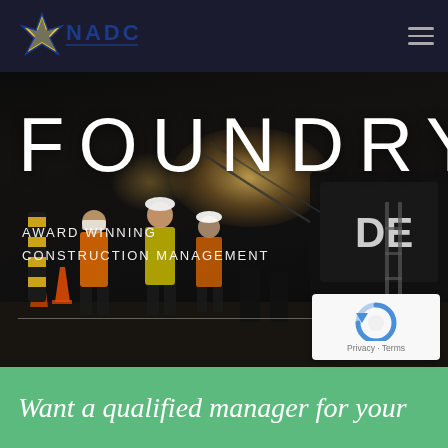NADC logo and navigation menu
[Figure (photo): Dark nighttime construction site with workers in high-visibility vests and hard hats under bright work lights, heavy machinery visible in background with 'DE' text partially visible on equipment]
FOUNDRY
AWARD WINNING
CONSTRUCTION MANAGEMENT
Want a qualified manager for your